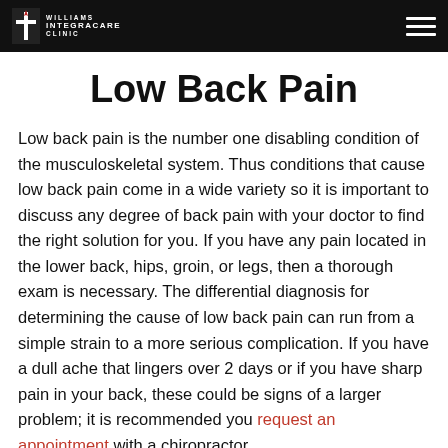Williams Integracare Clinic
Low Back Pain
Low back pain is the number one disabling condition of the musculoskeletal system. Thus conditions that cause low back pain come in a wide variety so it is important to discuss any degree of back pain with your doctor to find the right solution for you. If you have any pain located in the lower back, hips, groin, or legs, then a thorough exam is necessary. The differential diagnosis for determining the cause of low back pain can run from a simple strain to a more serious complication. If you have a dull ache that lingers over 2 days or if you have sharp pain in your back, these could be signs of a larger problem; it is recommended you request an appointment with a chiropractor.